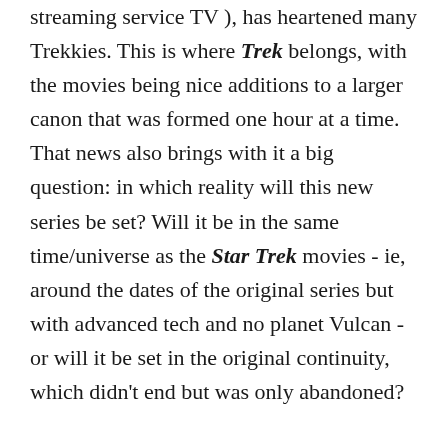streaming service TV ), has heartened many Trekkies. This is where Trek belongs, with the movies being nice additions to a larger canon that was formed one hour at a time. That news also brings with it a big question: in which reality will this new series be set? Will it be in the same time/universe as the Star Trek movies - ie, around the dates of the original series but with advanced tech and no planet Vulcan - or will it be set in the original continuity, which didn't end but was only abandoned?

There are a lot of clues, some of which are conflicting, but first we have to look at the history of Trek and Paramount. CBS and Viacom, Paramount's parent company, split in 2006, and with them was divided the rights to Trek. All of the